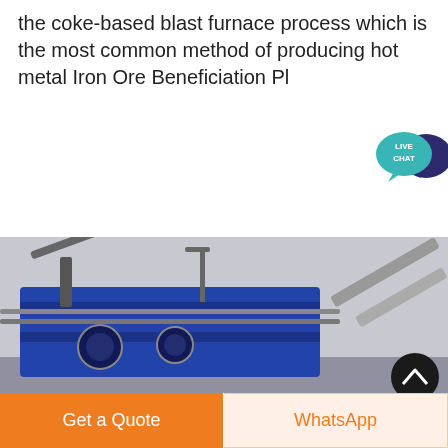the coke-based blast furnace process which is the most common method of producing hot metal Iron Ore Beneficiation Pl
[Figure (other): Orange rounded button labeled 'Get price']
[Figure (other): Live Chat speech bubble widget in teal and dark navy blue]
[Figure (photo): Industrial iron ore beneficiation plant machinery with blue metal structure, conveyor belts, pipes and equipment under grey sky]
Get a Quote
WhatsApp